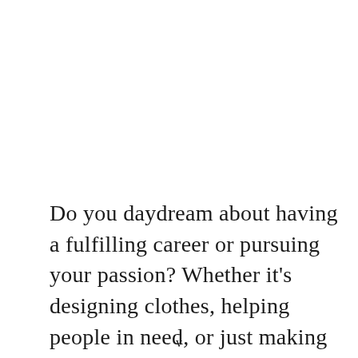Do you daydream about having a fulfilling career or pursuing your passion? Whether it's designing clothes, helping people in need, or just making the world a better place through entrepreneurship and innovation, there are so many amazing opportunities out there. If you
v